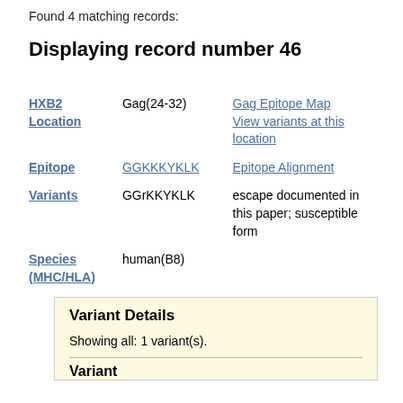Found 4 matching records:
Displaying record number 46
|  |  |  |
| --- | --- | --- |
| HXB2 Location | Gag(24-32) | Gag Epitope Map View variants at this location |
| Epitope | GGKKKYKLK | Epitope Alignment |
| Variants | GGrKKYKLK | escape documented in this paper; susceptible form |
| Species (MHC/HLA) | human(B8) |  |
Variant Details
Showing all: 1 variant(s).
Variant